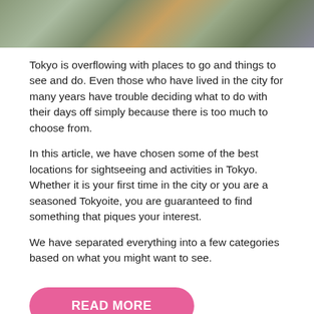[Figure (photo): Aerial or elevated view of a city (Tokyo), showing trees with autumn foliage, buildings, and rooftops.]
Tokyo is overflowing with places to go and things to see and do. Even those who have lived in the city for many years have trouble deciding what to do with their days off simply because there is too much to choose from.
In this article, we have chosen some of the best locations for sightseeing and activities in Tokyo. Whether it is your first time in the city or you are a seasoned Tokyoite, you are guaranteed to find something that piques your interest.
We have separated everything into a few categories based on what you might want to see.
READ MORE
Top 10 Ski Resorts in Hokkaido | Best Resorts with an Onsen
E-mail Us
by Sakura Mobile